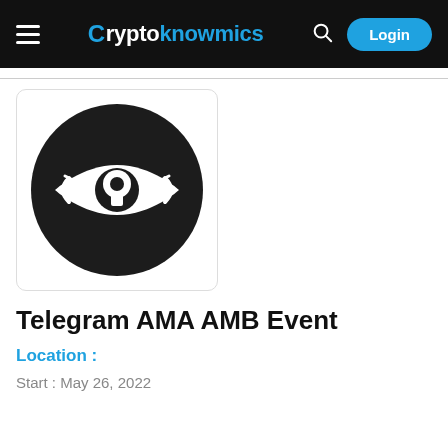Cryptoknowmics — Login
[Figure (logo): Dark circular logo with a stylized eye and keyhole symbol, white on black, inside a rounded rectangular card]
Telegram AMA AMB Event
Location :
Start : May 26, 2022